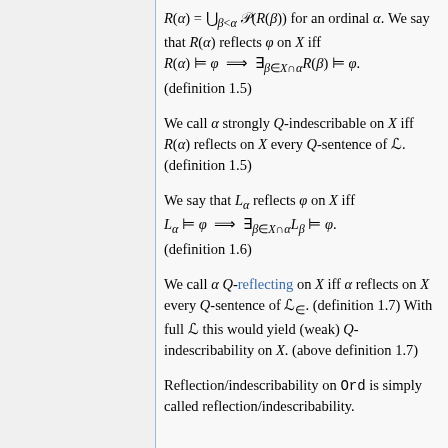R(α) = ∪_{β<α} 𝒫(R(β)) for an ordinal α. We say that R(α) reflects φ on X iff R(α) ⊨ φ ⟹ ∃_{β∈X∩α} R(β) ⊨ φ. (definition 1.5)
We call α strongly Q-indescribable on X iff R(α) reflects on X every Q-sentence of ℒ. (definition 1.5)
We say that L_α reflects φ on X iff L_α ⊨ φ ⟹ ∃_{β∈X∩α} L_β ⊨ φ. (definition 1.6)
We call α Q-reflecting on X iff α reflects on X every Q-sentence of ℒ_∈. (definition 1.7) With full ℒ this would yield (weak) Q-indescribability on X. (above definition 1.7)
Reflection/indescribability on Ord is simply called reflection/indescribability.